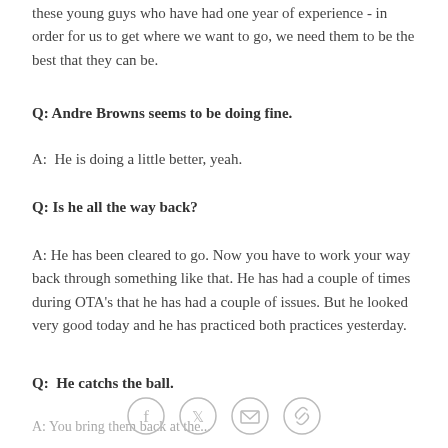these young guys who have had one year of experience - in order for us to get where we want to go, we need them to be the best that they can be.
Q: Andre Browns seems to be doing fine.
A:  He is doing a little better, yeah.
Q: Is he all the way back?
A: He has been cleared to go. Now you have to work your way back through something like that. He has had a couple of times during OTA's that he has had a couple of issues. But he looked very good today and he has practiced both practices yesterday.
Q:  He catchs the ball.
A: You bring them back at the...